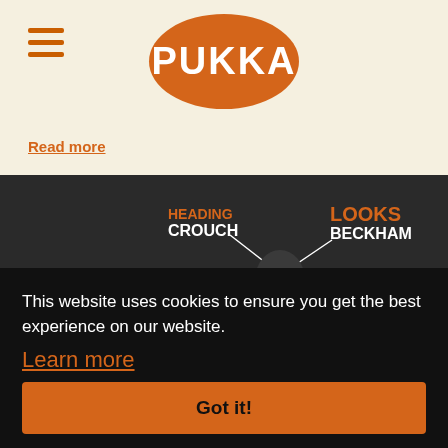[Figure (logo): Pukka brand logo: orange oval with white bold uppercase PUKKA text]
Read more
[Figure (infographic): Dark background infographic showing footballer attributes: HEADING CROUCH, LOOKS BECKHAM, SKILL (partial), NDS, HEICHEL, RIGHT FOOT with connector lines to a central figure]
This website uses cookies to ensure you get the best experience on our website.
Learn more
Got it!